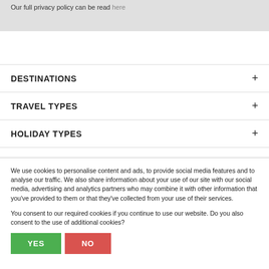Our full privacy policy can be read here
DESTINATIONS +
TRAVEL TYPES +
HOLIDAY TYPES +
We use cookies to personalise content and ads, to provide social media features and to analyse our traffic. We also share information about your use of our site with our social media, advertising and analytics partners who may combine it with other information that you've provided to them or that they've collected from your use of their services.
You consent to our required cookies if you continue to use our website. Do you also consent to the use of additional cookies?
YES   NO